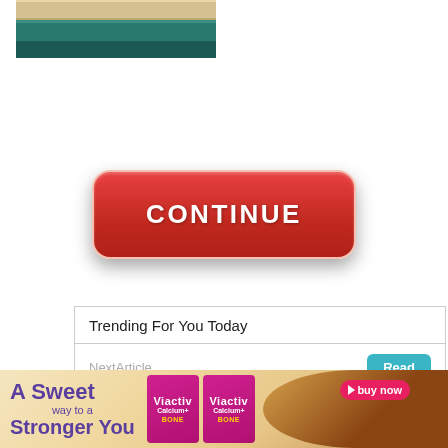[Figure (photo): Partial photo showing layered fabric or material in beige/tan and teal/dark green colors, cropped at top of page]
[Figure (other): Large red rounded-rectangle button with white bold text reading CONTINUE]
Trending For You Today
NextArticle
Read
[Figure (other): Advertisement banner for Viactiv Calcium+ Bone supplement. Text reads: A Sweet way to a Stronger You. Shows two pink Viactiv product boxes and chocolate caramel candy. Has buy now button.]